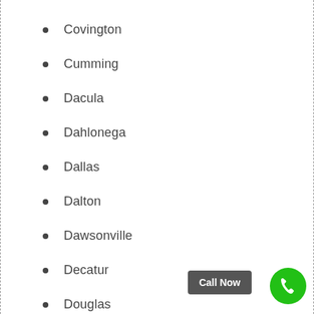Covington
Cumming
Dacula
Dahlonega
Dallas
Dalton
Dawsonville
Decatur
Douglas
Douglasville